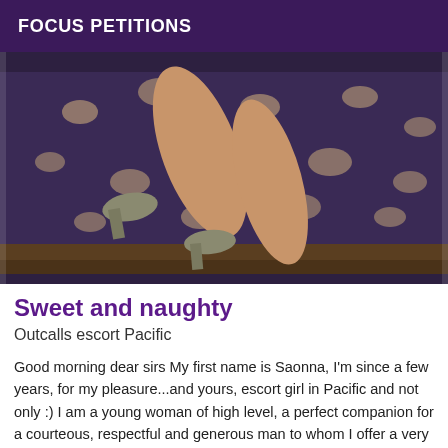FOCUS PETITIONS
[Figure (photo): Photo showing woman's legs in high heels resting on a patterned dark floral bedspread]
Sweet and naughty
Outcalls escort Pacific
Good morning dear sirs My first name is Saonna, I'm since a few years, for my pleasure...and yours, escort girl in Pacific and not only :) I am a young woman of high level, a perfect companion for a courteous, respectful and generous man to whom I offer a very exclusive